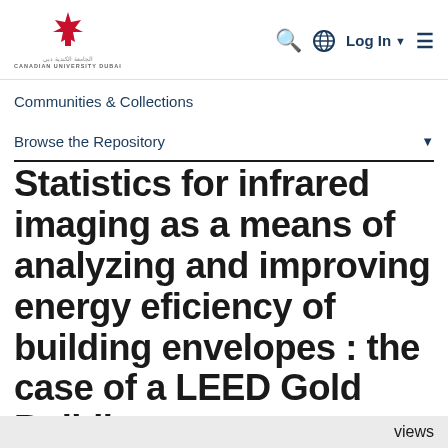[Figure (logo): Canadian University Dubai logo with red maple leaf and Arabic/English text]
Communities & Collections
Browse the Repository
Statistics for infrared imaging as a means of analyzing and improving energy eficiency of building envelopes : the case of a LEED Gold Building
Total visits
views